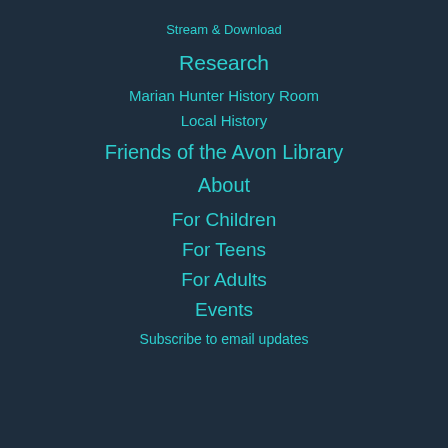Stream & Download
Research
Marian Hunter History Room
Local History
Friends of the Avon Library
About
For Children
For Teens
For Adults
Events
Subscribe to email updates